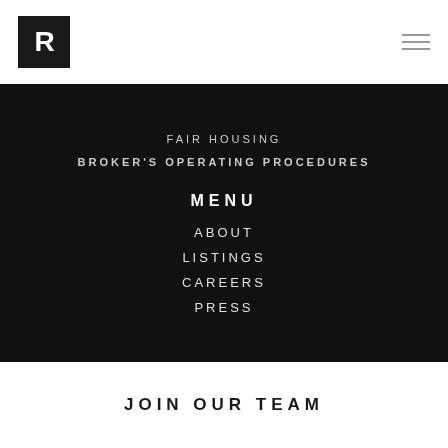[Figure (logo): Black square logo with white letter R]
FAIR HOUSING
BROKER'S OPERATING PROCEDURES
MENU
ABOUT
LISTINGS
CAREERS
PRESS
JOIN OUR TEAM